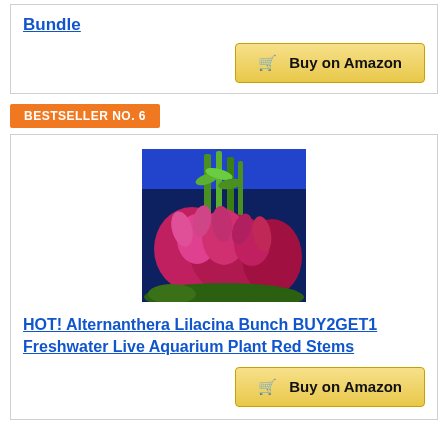Bundle
Buy on Amazon
BESTSELLER NO. 6
[Figure (photo): Photo of red and pink aquarium plants (Alternanthera Lilacina) with tall green stems against a blue background]
HOT! Alternanthera Lilacina Bunch BUY2GET1 Freshwater Live Aquarium Plant Red Stems
Buy on Amazon